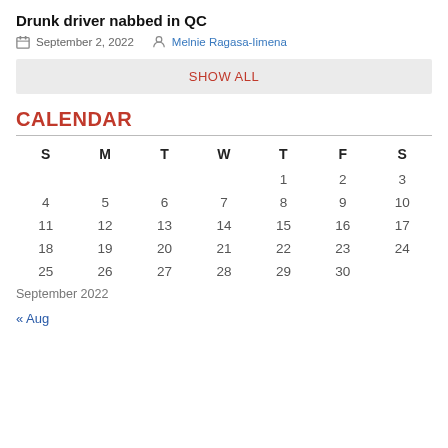Drunk driver nabbed in QC
September 2, 2022   Melnie Ragasa-Iimena
SHOW ALL
CALENDAR
| S | M | T | W | T | F | S |
| --- | --- | --- | --- | --- | --- | --- |
|  |  |  |  | 1 | 2 | 3 |
| 4 | 5 | 6 | 7 | 8 | 9 | 10 |
| 11 | 12 | 13 | 14 | 15 | 16 | 17 |
| 18 | 19 | 20 | 21 | 22 | 23 | 24 |
| 25 | 26 | 27 | 28 | 29 | 30 |  |
September 2022
« Aug